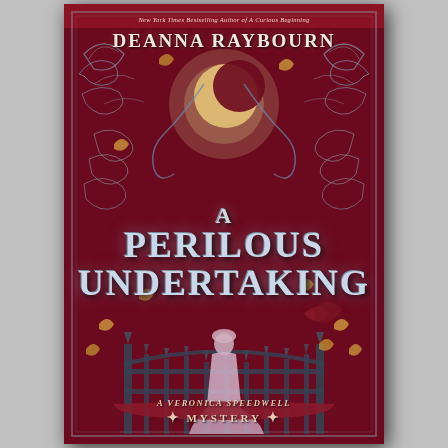[Figure (illustration): Book cover of 'A Perilous Undertaking' by Deanna Raybourn. Dark crimson/burgundy background with elaborate silver-toned Art Nouveau ornamental scrollwork, vines, and floral motifs. A large crescent moon glows at the top center. Autumn leaves (gold/copper) are scattered around. A silhouetted Victorian woman in a long dress stands before ornate iron gates at the bottom center. The author name 'Deanna Raybourn' appears at the top in white serif letters with subtitle 'New York Times Bestselling Author of A Curious Beginning'. The main title 'A Perilous Undertaking' appears in large silver metallic letters in the center. A red ribbon banner near the bottom reads 'A Veronica Speedwell Mystery'.]